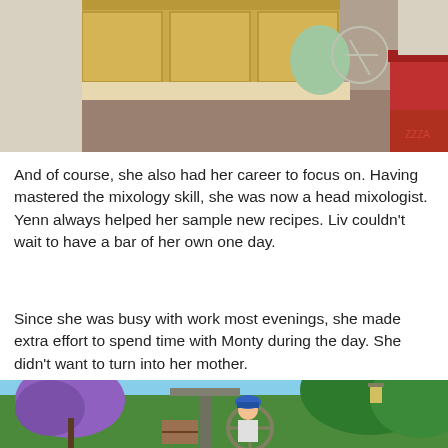[Figure (screenshot): Screenshot from The Sims 4 showing a character sitting on a bar stool at a kitchen counter area. A yellow cabinet and a red chair are visible in the background.]
And of course, she also had her career to focus on. Having mastered the mixology skill, she was now a head mixologist. Yenn always helped her sample new recipes. Liv couldn't wait to have a bar of her own one day.
Since she was busy with work most evenings, she made extra effort to spend time with Monty during the day. She didn't want to turn into her mother.
[Figure (screenshot): Screenshot from The Sims 4 showing a child Sim wearing a blue beret sitting at an outdoor play structure shaped like a ship's wheel, surrounded by trees including a purple flowering tree.]